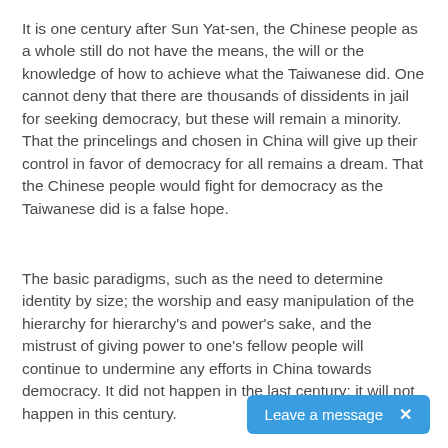It is one century after Sun Yat-sen, the Chinese people as a whole still do not have the means, the will or the knowledge of how to achieve what the Taiwanese did. One cannot deny that there are thousands of dissidents in jail for seeking democracy, but these will remain a minority. That the princelings and chosen in China will give up their control in favor of democracy for all remains a dream. That the Chinese people would fight for democracy as the Taiwanese did is a false hope.
The basic paradigms, such as the need to determine identity by size; the worship and easy manipulation of the hierarchy for hierarchy's and power's sake, and the mistrust of giving power to one's fellow people will continue to undermine any efforts in China towards democracy. It did not happen in the last century; it will not happen in this century.
[Figure (other): A blue chat button with text 'Leave a message' and a close X icon]